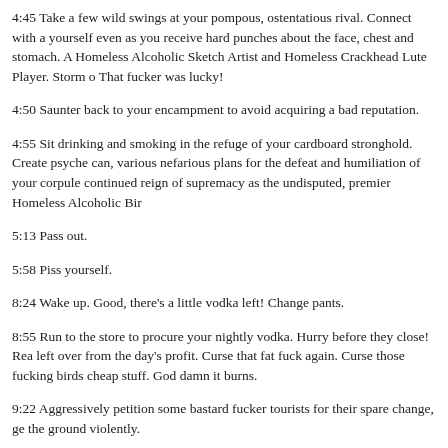4:45 Take a few wild swings at your pompous, ostentatious rival. Connect with a yourself even as you receive hard punches about the face, chest and stomach. A Homeless Alcoholic Sketch Artist and Homeless Crackhead Lute Player. Storm o That fucker was lucky!
4:50 Saunter back to your encampment to avoid acquiring a bad reputation.
4:55 Sit drinking and smoking in the refuge of your cardboard stronghold. Create psyche can, various nefarious plans for the defeat and humiliation of your corpule continued reign of supremacy as the undisputed, premier Homeless Alcoholic Bir
5:13 Pass out.
5:58 Piss yourself.
8:24 Wake up. Good, there's a little vodka left! Change pants.
8:55 Run to the store to procure your nightly vodka. Hurry before they close! Rea left over from the day's profit. Curse that fat fuck again. Curse those fucking birds cheap stuff. God damn it burns.
9:22 Aggressively petition some bastard fucker tourists for their spare change, ge the ground violently.
9:23 Realize that fate can be a finicky bitch. Loudly curse those fucking birds.
9:55 Pass out. Dream of dead birds.